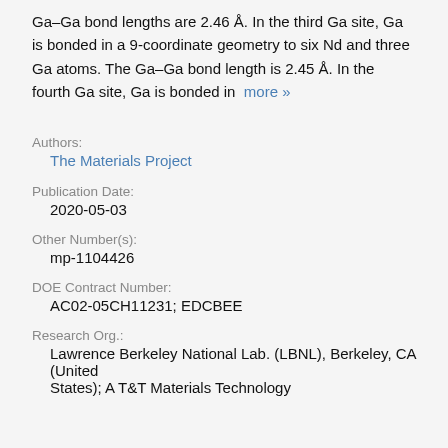Ga–Ga bond lengths are 2.46 Å. In the third Ga site, Ga is bonded in a 9-coordinate geometry to six Nd and three Ga atoms. The Ga–Ga bond length is 2.45 Å. In the fourth Ga site, Ga is bonded in  more »
Authors:
The Materials Project
Publication Date:
2020-05-03
Other Number(s):
mp-1104426
DOE Contract Number:
AC02-05CH11231; EDCBEE
Research Org.:
Lawrence Berkeley National Lab. (LBNL), Berkeley, CA (United States); A T&amp;T Materials Technology